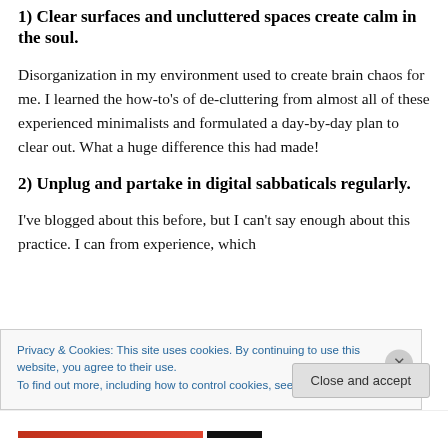1) Clear surfaces and uncluttered spaces create calm in the soul.
Disorganization in my environment used to create brain chaos for me. I learned the how-to's of de-cluttering from almost all of these experienced minimalists and formulated a day-by-day plan to clear out. What a huge difference this had made!
2) Unplug and partake in digital sabbaticals regularly.
I've blogged about this before, but I can't say enough about this practice. I can from experience, which
Privacy & Cookies: This site uses cookies. By continuing to use this website, you agree to their use.
To find out more, including how to control cookies, see here: Cookie Policy
Close and accept